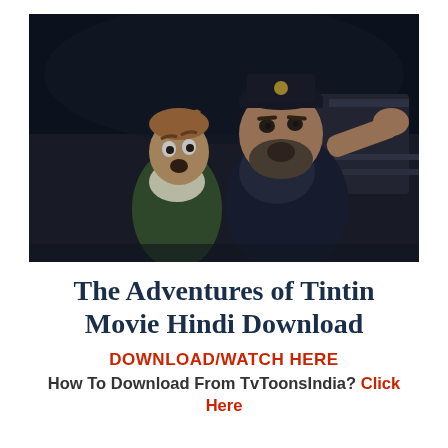[Figure (photo): Movie still from The Adventures of Tintin showing two animated characters — a young boy (Tintin) and an older bearded man in a captain's hat (Captain Haddock) pointing forward, in a dark nautical setting.]
The Adventures of Tintin Movie Hindi Download
DOWNLOAD/WATCH HERE
How To Download From TvToonsIndia? Click Here